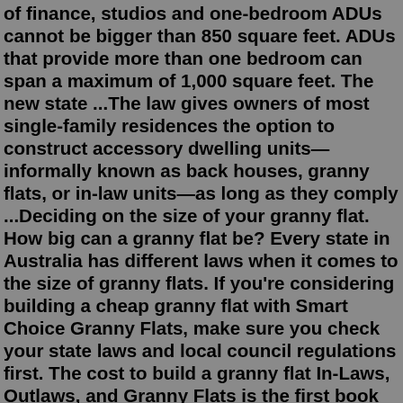of finance, studios and one-bedroom ADUs cannot be bigger than 850 square feet. ADUs that provide more than one bedroom can span a maximum of 1,000 square feet. The new state ...The law gives owners of most single-family residences the option to construct accessory dwelling units—informally known as back houses, granny flats, or in-law units—as long as they comply ...Deciding on the size of your granny flat. How big can a granny flat be? Every state in Australia has different laws when it comes to the size of granny flats. If you're considering building a cheap granny flat with Smart Choice Granny Flats, make sure you check your state laws and local council regulations first. The cost to build a granny flat In-Laws, Outlaws, and Granny Flats is the first book to explore the many designs, uses and benefits of this time-honored and emotionally satisfying living arrangement. In-law units take many forms and they're all shown here: attic, basement and garage conversions, bump-out additions, carve-out suites, and backyard cottages. This book covers ...Contact